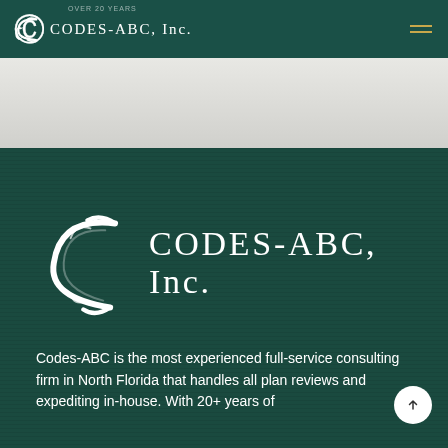OVER 20 YEARS
[Figure (logo): CODES-ABC, Inc. logo in navigation bar — decorative C monogram followed by CODES-ABC, Inc. text in white on dark green background]
[Figure (logo): Large CODES-ABC, Inc. logo centered in dark green section — large decorative C monogram followed by CODES-ABC, Inc. text in white]
Codes-ABC is the most experienced full-service consulting firm in North Florida that handles all plan reviews and expediting in-house. With 20+ years of